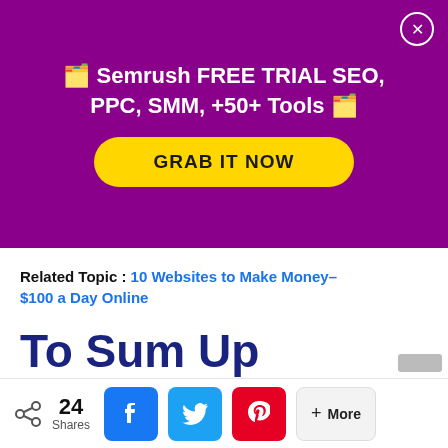[Figure (screenshot): Purple promotional banner for Semrush FREE TRIAL SEO, PPC, SMM, +50+ Tools with a yellow GRAB IT NOW button and close (X) button]
Related Topic : 10 Websites to Make Money-$100 a Day Online
To Sum Up
24 Shares
[Figure (infographic): Social share bar with share icon, 24 Shares count, Facebook, Twitter, Pinterest buttons and a + More button]